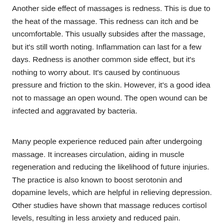Another side effect of massages is redness. This is due to the heat of the massage. This redness can itch and be uncomfortable. This usually subsides after the massage, but it's still worth noting. Inflammation can last for a few days. Redness is another common side effect, but it's nothing to worry about. It's caused by continuous pressure and friction to the skin. However, it's a good idea not to massage an open wound. The open wound can be infected and aggravated by bacteria.
Many people experience reduced pain after undergoing massage. It increases circulation, aiding in muscle regeneration and reducing the likelihood of future injuries. The practice is also known to boost serotonin and dopamine levels, which are helpful in relieving depression. Other studies have shown that massage reduces cortisol levels, resulting in less anxiety and reduced pain. Massage has many other benefits for the body. Its many benefits are listed below.